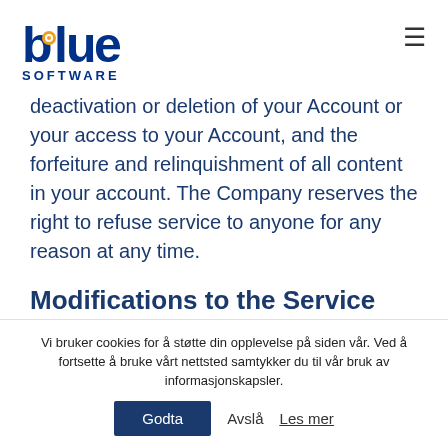blue SOFTWARE
deactivation or deletion of your Account or your access to your Account, and the forfeiture and relinquishment of all content in your account. The Company reserves the right to refuse service to anyone for any reason at any time.
Modifications to the Service and Prices
Vi bruker cookies for å støtte din opplevelse på siden vår. Ved å fortsette å bruke vårt nettsted samtykker du til vår bruk av informasjonskapsler.